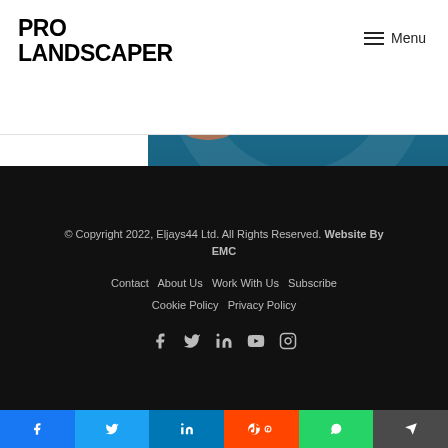[Figure (logo): Pro Landscaper logo in bold black uppercase text]
[Figure (illustration): Gravelrings advertisement banner with teal/dark blue background showing Gravelrings logo with UK Made badge]
© Copyright 2022, Eljays44 Ltd. All Rights Reserved. Website By EMC
Contact  About Us  Work With Us  Subscribe  Cookie Policy  Privacy Policy
[Figure (infographic): Social media icons row: Facebook, Twitter, LinkedIn, YouTube, Instagram]
[Figure (infographic): Bottom share bar with Facebook, Twitter, LinkedIn, Reddit, WhatsApp, Telegram buttons]